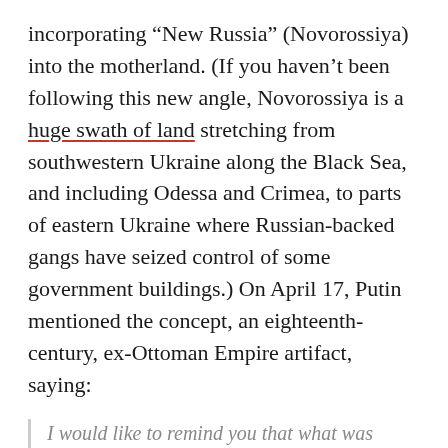incorporating “New Russia” (Novorossiya) into the motherland. (If you haven’t been following this new angle, Novorossiya is a huge swath of land stretching from southwestern Ukraine along the Black Sea, and including Odessa and Crimea, to parts of eastern Ukraine where Russian-backed gangs have seized control of some government buildings.) On April 17, Putin mentioned the concept, an eighteenth-century, ex-Ottoman Empire artifact, saying:
I would like to remind you that what was called Novorossiya back in the tsarist days—Kharkov, Lugansk, Donetsk, Kherson, Nikolayev, and